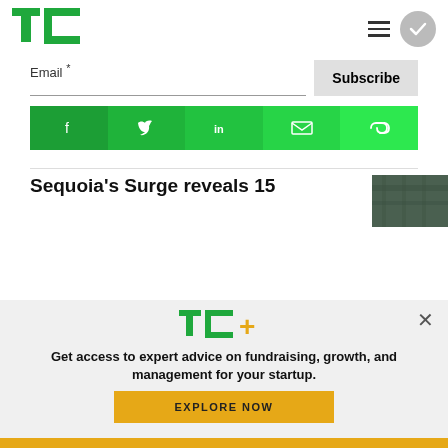[Figure (logo): TechCrunch TC logo in green]
Email *
Subscribe
[Figure (infographic): Social share buttons: Facebook, Twitter, LinkedIn, Email, Link — all in green]
Sequoia's Surge reveals 15
[Figure (photo): Article thumbnail image — green-tinted building/crowd photo]
[Figure (logo): TC+ logo with green TC and yellow plus sign]
Get access to expert advice on fundraising, growth, and management for your startup.
EXPLORE NOW